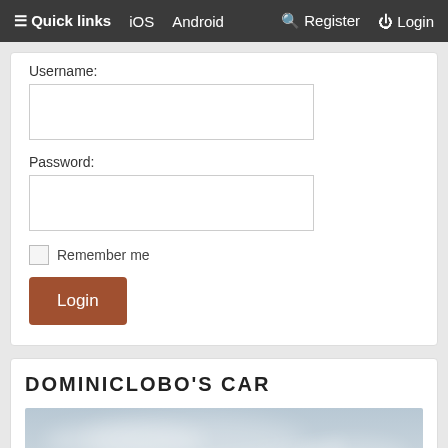☰ Quick links   iOS   Android   🔍 Register   ⏻ Login
Username:
Password:
Remember me
Login
DOMINICLOBO'S CAR
[Figure (photo): Outdoor photo of a car against a cloudy sky background with a small red flag visible in the distance]